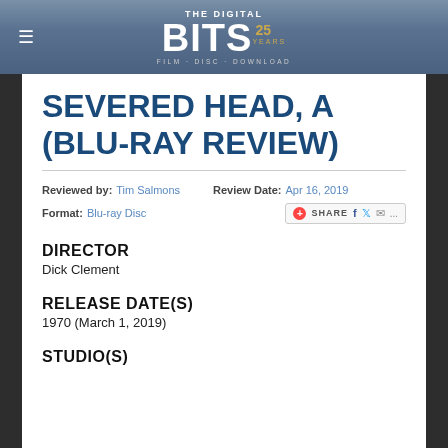THE DIGITAL BITS 25 YEARS — FILM · DISC · DOWNLOAD
SEVERED HEAD, A (BLU-RAY REVIEW)
Reviewed by: Tim Salmons   Review Date: Apr 16, 2019
Format: Blu-ray Disc
DIRECTOR
Dick Clement
RELEASE DATE(S)
1970 (March 1, 2019)
STUDIO(S)